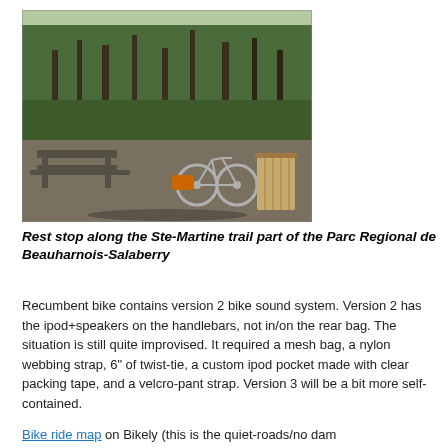[Figure (photo): Outdoor rest stop area with a picnic table on the left, a bicycle leaning near a wooden waste bin on the right, surrounded by trees and greenery. Shadows cast on gravel ground.]
Rest stop along the Ste-Martine trail part of the Parc Regional de Beauharnois-Salaberry
Recumbent bike contains version 2 bike sound system. Version 2 has the ipod+speakers on the handlebars, not in/on the rear bag. The situation is still quite improvised. It required a mesh bag, a nylon webbing strap, 6" of twist-tie, a custom ipod pocket made with clear packing tape, and a velcro-pant strap. Version 3 will be a bit more self-contained.
Bike ride map on Bikely (this is the quiet-roads/no dam